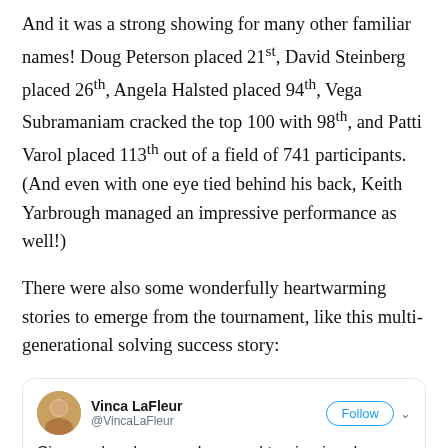And it was a strong showing for many other familiar names! Doug Peterson placed 21st, David Steinberg placed 26th, Angela Halsted placed 94th, Vega Subramaniam cracked the top 100 with 98th, and Patti Varol placed 113th out of a field of 741 participants. (And even with one eye tied behind his back, Keith Yarbrough managed an impressive performance as well!)
There were also some wonderfully heartwarming stories to emerge from the tournament, like this multi-generational solving success story:
[Figure (screenshot): Tweet by Vinca LaFleur (@VincaLaFleur) with Follow button and caret. Tweet text: 'Six puzzles down and v proud to vicariously humblebrag that dad is #2 in the Seniors and daughter is #2 in the Juniors--and #15 overall! #ACPT2019 The family that solves']